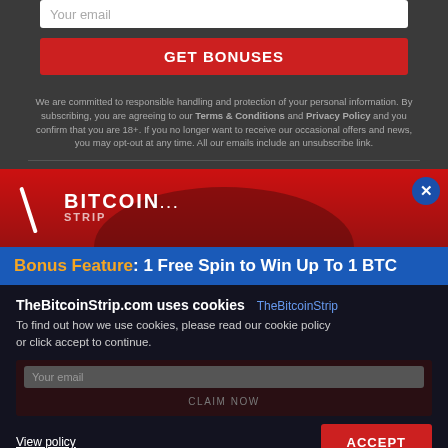Your email
GET BONUSES
We are committed to responsible handling and protection of your personal information. By subscribing, you are agreeing to our Terms & Conditions and Privacy Policy and you confirm that you are 18+. If you no longer want to receive our occasional offers and news, you may opt-out at any time. All our emails include an unsubscribe link.
[Figure (logo): Bitcoin Strip logo with white slanted slash, BITCOIN text and ellipsis in red banner]
Bonus Feature: 1 Free Spin to Win Up To 1 BTC
TheBitcoinStrip.com uses cookies   TheBitcoinStrip
To find out how we use cookies, please read our cookie policy or click accept to continue.
Your email
CLAIM NOW
View policy
ACCEPT
18+ OVER 18 ONLY. TERMS & CONDITIONS APPLY